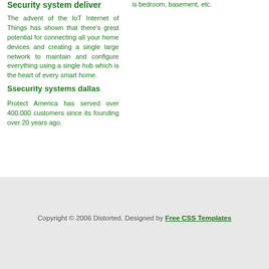Security System deliver
The advent of the IoT Internet of Things has shown that there's great potential for connecting all your home devices and creating a single large network to maintain and configure everything using a single hub which is the heart of every smart home.
Ssecurity systems dallas
Protect America has served over 400,000 customers since its founding over 20 years ago.
is bedroom, basement, etc.
Copyright © 2006 Distorted. Designed by Free CSS Templates